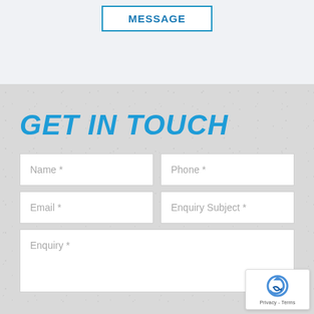MESSAGE
GET IN TOUCH
Name *
Phone *
Email *
Enquiry Subject *
Enquiry *
[Figure (other): reCAPTCHA widget overlay showing spinning arrow logo and Privacy - Terms text]